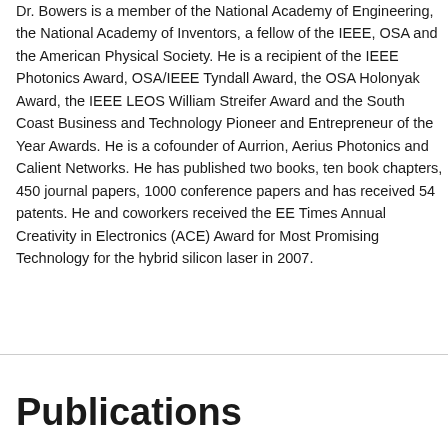Dr. Bowers is a member of the National Academy of Engineering, the National Academy of Inventors, a fellow of the IEEE, OSA and the American Physical Society. He is a recipient of the IEEE Photonics Award, OSA/IEEE Tyndall Award, the OSA Holonyak Award, the IEEE LEOS William Streifer Award and the South Coast Business and Technology Pioneer and Entrepreneur of the Year Awards. He is a cofounder of Aurrion, Aerius Photonics and Calient Networks. He has published two books, ten book chapters, 450 journal papers, 1000 conference papers and has received 54 patents. He and coworkers received the EE Times Annual Creativity in Electronics (ACE) Award for Most Promising Technology for the hybrid silicon laser in 2007.
Publications